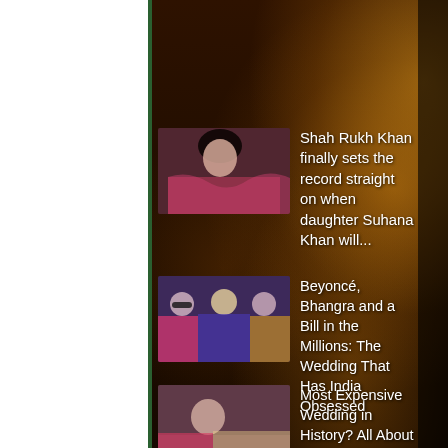[Figure (screenshot): Mobile news app screenshot showing a list of news articles on a dark brown bokeh background. Four news items are partially visible, each with a thumbnail image on the left and headline text on the right.]
Shah Rukh Khan finally sets the record straight on when daughter Suhana Khan will...
Beyoncé, Bhangra and a Bill in the Millions: The Wedding That Has India Obsessed
Most Expensive Wedding in History? All About Wednesday's Lavish, Star-...
#MeToo in Bollywood: 'The Fault is Our Stand By...